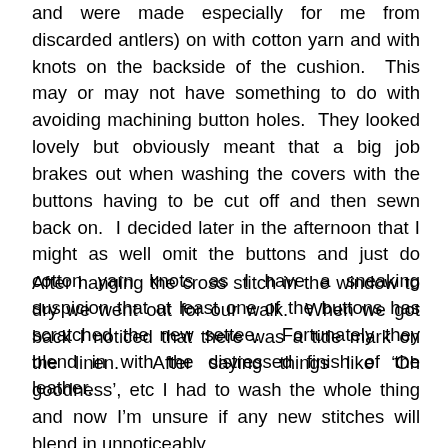and were made especially for me from discarded antlers) on with cotton yarn and with knots on the backside of the cushion. This may or may not have something to do with avoiding machining button holes. They looked lovely but obviously meant that a big job brakes out when washing the covers with the buttons having to be cut off and then sewn back on. I decided later in the afternoon that I might as well omit the buttons and just do cotton yarn knots as I have a sneaking suspicion that at least one of the buttons has scratched the new settee. Fortunately they blend in with the distressed finish of the leather.
After hanging the cross stitch in the window to dry we went out for our walk. When we got back I noticed that there was a tide mark on the linen. After saying things like 'Oh goodness', etc I had to wash the whole thing and now I'm unsure if any new stitches will blend in unnoticeably.